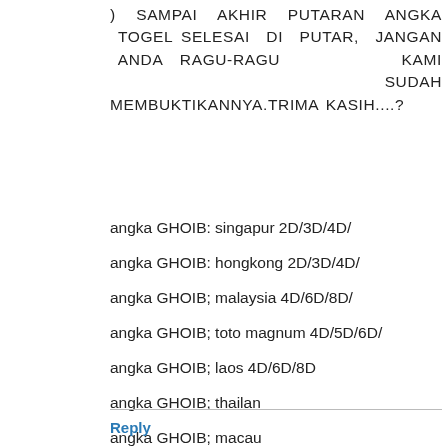) SAMPAI AKHIR PUTARAN ANGKA TOGEL SELESAI DI PUTAR, JANGAN ANDA RAGU-RAGU KAMI SUDAH MEMBUKTIKANNYA.TRIMA KASIH....?
angka GHOIB: singapur 2D/3D/4D/
angka GHOIB: hongkong 2D/3D/4D/
angka GHOIB; malaysia 4D/6D/8D/
angka GHOIB; toto magnum 4D/5D/6D/
angka GHOIB; laos 4D/6D/8D
angka GHOIB; thailan
angka GHOIB; macau
angka ghoib; sidney
Reply